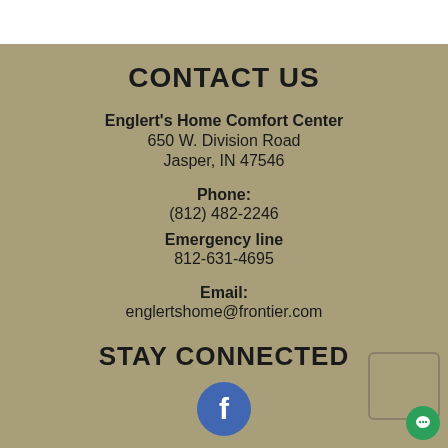CONTACT US
Englert's Home Comfort Center
650 W. Division Road
Jasper, IN 47546
Phone:
(812) 482-2246
Emergency line
812-631-4695
Email:
englertshome@frontier.com
STAY CONNECTED
[Figure (logo): Facebook logo icon — blue circle with white 'f']
CUSTOMER SERVICE